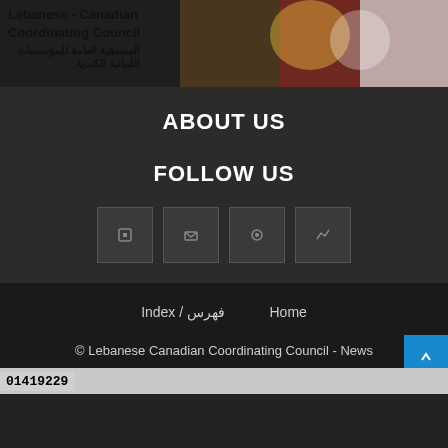[Figure (photo): Lebanese-Canadian Coordinating Council banner with logo text in English and Arabic, overlaid on a photo of people waving Lebanese flags]
ABOUT US
FOLLOW US
[Figure (infographic): Four social media icon buttons in dark square boxes arranged horizontally]
Index / فهرس    Home
© Lebanese Canadian Coordinating Council - News
01419229